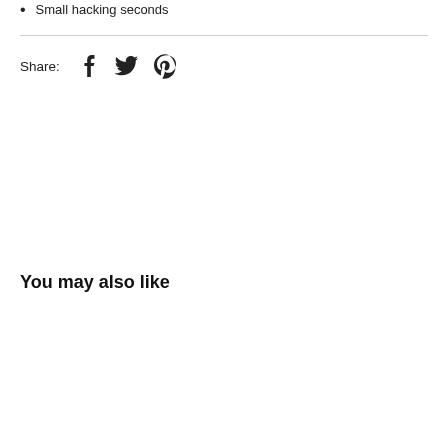Small hacking seconds
Share:
You may also like